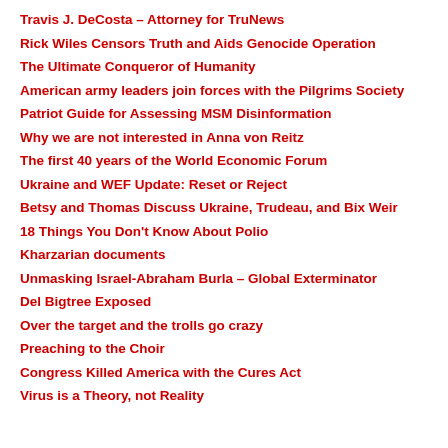Travis J. DeCosta – Attorney for TruNews
Rick Wiles Censors Truth and Aids Genocide Operation
The Ultimate Conqueror of Humanity
American army leaders join forces with the Pilgrims Society
Patriot Guide for Assessing MSM Disinformation
Why we are not interested in Anna von Reitz
The first 40 years of the World Economic Forum
Ukraine and WEF Update: Reset or Reject
Betsy and Thomas Discuss Ukraine, Trudeau, and Bix Weir
18 Things You Don't Know About Polio
Kharzarian documents
Unmasking Israel-Abraham Burla – Global Exterminator
Del Bigtree Exposed
Over the target and the trolls go crazy
Preaching to the Choir
Congress Killed America with the Cures Act
Virus is a Theory, not Reality